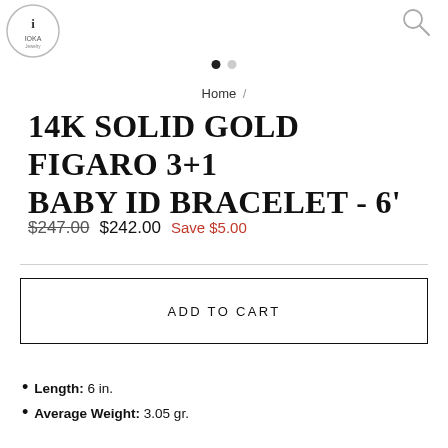IOKA Jewelry logo and search icon
Home /
14K SOLID GOLD FIGARO 3+1 BABY ID BRACELET - 6'
$247.00  $242.00  Save $5.00
ADD TO CART
Length: 6 in.
Average Weight: 3.05 gr.